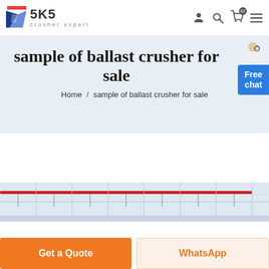SKS crusher expert
sample of ballast crusher for sale
Home / sample of ballast crusher for sale
[Figure (photo): Industrial facility interior with red pipe/conveyor structure visible against a light-colored ceiling/roof structure]
Get a Quote
WhatsApp